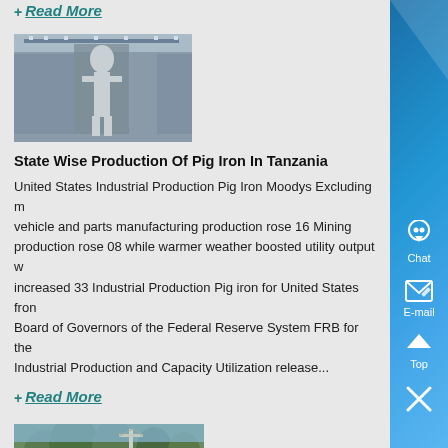between 2009 and 2025 in m...
+ Read More
[Figure (photo): Industrial facility interior with equipment]
State Wise Production Of Pig Iron In Tanzania
United States Industrial Production Pig Iron Moodys Excluding motor vehicle and parts manufacturing production rose 16 Mining production rose 08 while warmer weather boosted utility output which increased 33 Industrial Production Pig iron for United States from Board of Governors of the Federal Reserve System FRB for the Industrial Production and Capacity Utilization release...
+ Read More
[Figure (photo): Outdoor scene with trees and infrastructure]